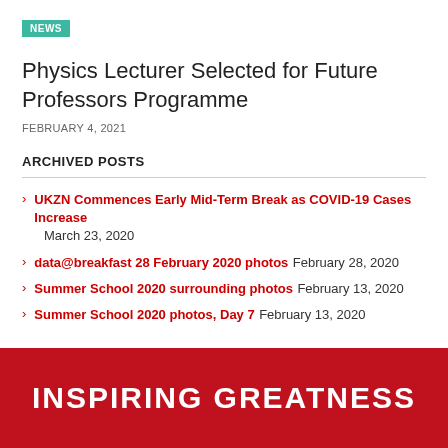NEWS
Physics Lecturer Selected for Future Professors Programme
FEBRUARY 4, 2021
ARCHIVED POSTS
UKZN Commences Early Mid-Term Break as COVID-19 Cases Increase  March 23, 2020
data@breakfast 28 February 2020 photos  February 28, 2020
Summer School 2020 surrounding photos  February 13, 2020
Summer School 2020 photos, Day 7  February 13, 2020
INSPIRING GREATNESS